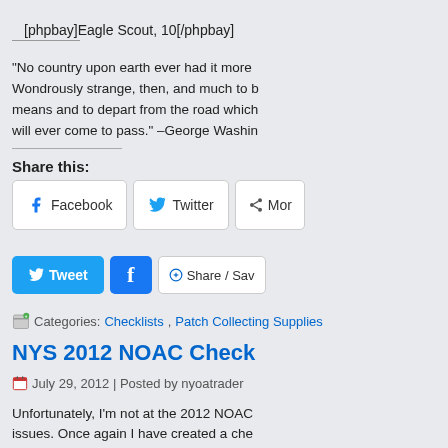[phpbay]Eagle Scout, 10[/phpbay]
"No country upon earth ever had it more in its power to attain these blessings than United America. Wondrously strange, then, and much to be regretted indeed would it be, were we to neglect the means and to depart from the road which Providence has pointed us to so plainly; I cannot believe it will ever come to pass." –George Washington
Share this:
[Figure (screenshot): Social share buttons: Facebook, Twitter, More]
[Figure (screenshot): Tweet button and Facebook share button and Share/Save button]
Categories: Checklists, Patch Collecting Supplies
NYS 2012 NOAC Check
July 29, 2012 | Posted by nyoatrader
Unfortunately, I'm not at the 2012 NOAC due to work issues. Once again I have created a che